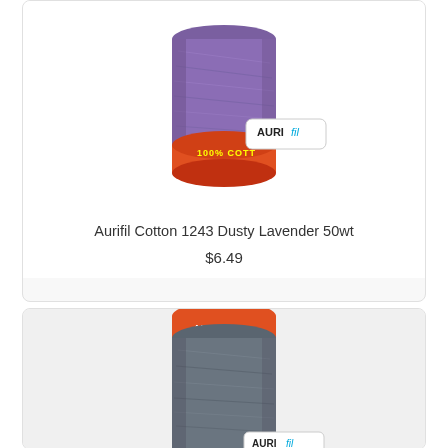[Figure (photo): Aurifil thread spool with purple/dusty lavender thread and orange/red base label reading 100% COTT, with Aurifil brand logo visible]
Aurifil Cotton 1243 Dusty Lavender 50wt
$6.49
[Figure (photo): Aurifil thread spool with grey/dark grey thread and orange/red top label reading AURIFIL, with Aurifil brand logo partially visible at bottom]